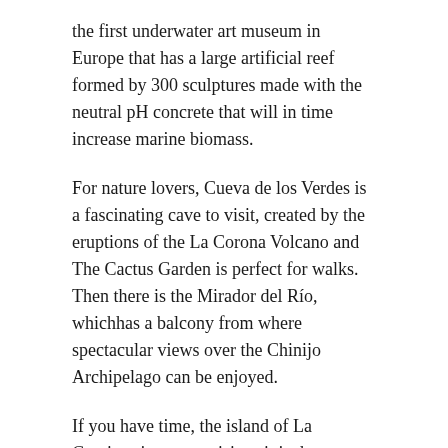the first underwater art museum in Europe that has a large artificial reef formed by 300 sculptures made with the neutral pH concrete that will in time increase marine biomass.
For nature lovers, Cueva de los Verdes is a fascinating cave to visit, created by the eruptions of the La Corona Volcano and The Cactus Garden is perfect for walks. Then there is the Mirador del Río, whichhas a balcony from where spectacular views over the Chinijo Archipelago can be enjoyed.
If you have time, the island of La Graciosa is a must visit as it is the most distinctive island in the Canaries, with only 600 inhabitants and is an idyllic destination full of peace, nature and serenity both in the popular areas and by its many beaches. Lanzarote is indeed a destination that has all one needs in one place for visitors of all ages.